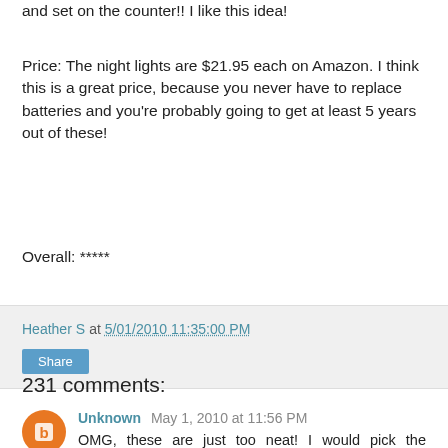and set on the counter!! I like this idea!
Price: The night lights are $21.95 each on Amazon. I think this is a great price, because you never have to replace batteries and you’re probably going to get at least 5 years out of these!
Overall: *****
Heather S at 5/01/2010 11:35:00 PM
Share
231 comments:
Unknown May 1, 2010 at 11:56 PM
OMG, these are just too neat! I would pick the Brontosaurus for my 18month old son’s room!